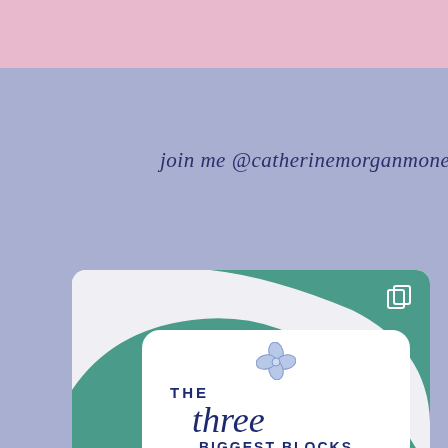join me @catherinemorganmoney
[Figure (screenshot): Screenshot of an Instagram post showing a card with green blob background and white rounded box. The card contains a flower illustration and text reading 'THE three BIGGEST BLOCKS STOPPING YOU FROM' in navy blue. A copy/carousel icon appears in the top right corner.]